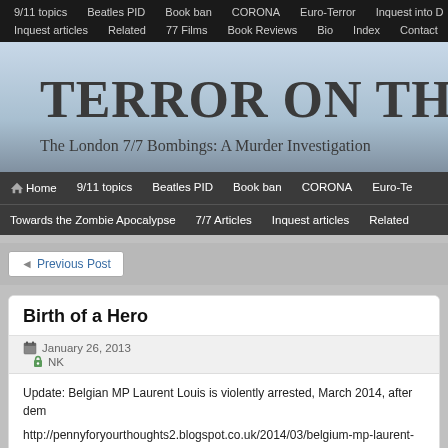9/11 topics | Beatles PID | Book ban | CORONA | Euro-Terror | Inquest into D... | Inquest articles | Related | 77 Films | Book Reviews | Bio | Index | Contact
TERROR ON THE TUB...
The London 7/7 Bombings: A Murder Investigation
Home | 9/11 topics | Beatles PID | Book ban | CORONA | Euro-Te... | Towards the Zombie Apocalypse | 7/7 Articles | Inquest articles | Related...
◄ Previous Post
Birth of a Hero
January 26, 2013   NK
Update: Belgian MP Laurent Louis is violently arrested, March 2014, after dem...
http://pennyforyourthoughts2.blogspot.co.uk/2014/03/belgium-mp-laurent-louis...